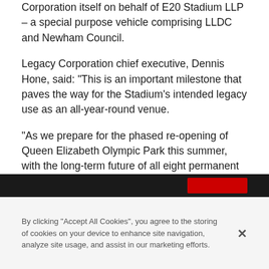Corporation itself on behalf of E20 Stadium LLP – a special purpose vehicle comprising LLDC and Newham Council.
Legacy Corporation chief executive, Dennis Hone, said: "This is an important milestone that paves the way for the Stadium's intended legacy use as an all-year-round venue.
"As we prepare for the phased re-opening of Queen Elizabeth Olympic Park this summer, with the long-term future of all eight permanent venues on the Park now secure, we remain firmly on track to deliver a meaningful physical and social legacy for Londoners."
[Figure (other): Dark navigation bar with red button on the right]
By clicking “Accept All Cookies”, you agree to the storing of cookies on your device to enhance site navigation, analyze site usage, and assist in our marketing efforts.